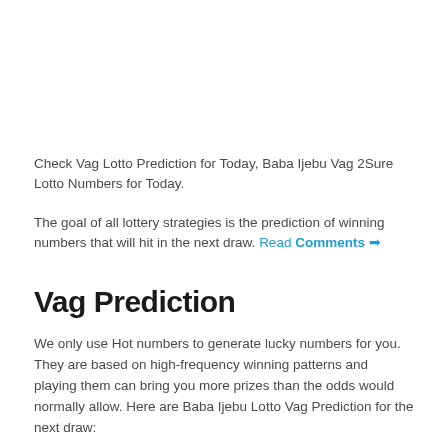Check Vag Lotto Prediction for Today, Baba Ijebu Vag 2Sure Lotto Numbers for Today.
The goal of all lottery strategies is the prediction of winning numbers that will hit in the next draw. Read Comments →
Vag Prediction
We only use Hot numbers to generate lucky numbers for you. They are based on high-frequency winning patterns and playing them can bring you more prizes than the odds would normally allow. Here are Baba Ijebu Lotto Vag Prediction for the next draw: